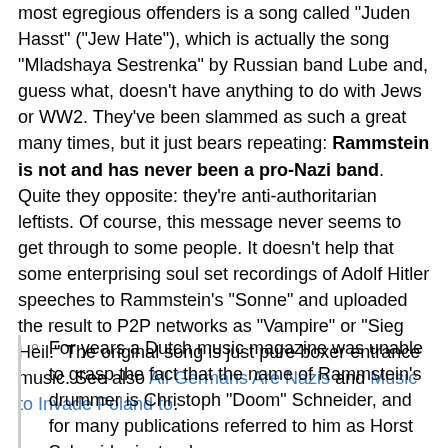most egregious offenders is a song called "Juden Hasst" ("Jew Hate"), which is actually the song "Mladshaya Sestrenka" by Russian band Lube and, guess what, doesn't have anything to do with Jews or WW2. They've been slammed as such a great many times, but it just bears repeating: Rammstein is not and has never been a pro-Nazi band. Quite they opposite: they're anti-authoritarian leftists. Of course, this message never seems to get through to some people. It doesn't help that some enterprising soul set recordings of Adolf Hitler speeches to Rammstein's "Sonne" and uploaded the result to P2P networks as "Vampire" or "Sieg Heil." The original song is just pure boxer entrance music. See also All Germans Are Nazis and Music to Invade Poland to.
For years a Dutch music magazine was unable to grasp the fact that the name of Rammstein's drummer is Christoph "Doom" Schneider, and for many publications referred to him as Horst Schneider instead.